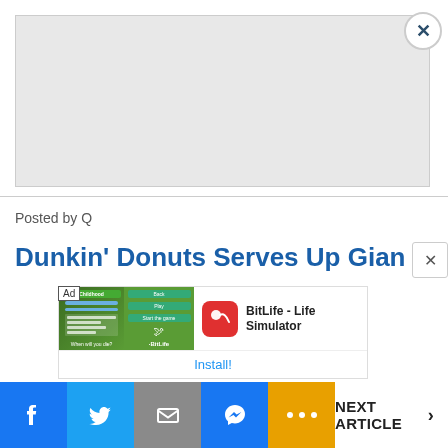[Figure (screenshot): Gray placeholder advertisement image area]
Posted by Q
Dunkin' Donuts Serves Up Gian
[Figure (screenshot): BitLife - Life Simulator app install advertisement with app icon and Install! button]
Install!
[Figure (other): Social media share bar with Facebook, Twitter, Email, Messenger, More buttons and NEXT ARTICLE link]